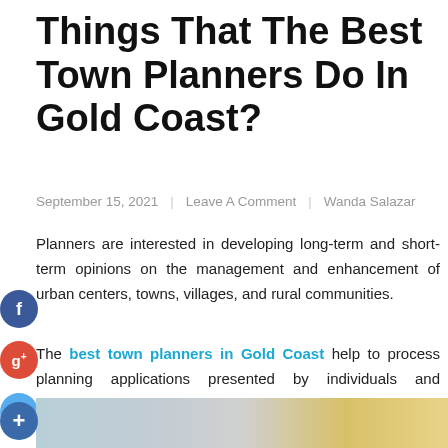Things That The Best Town Planners Do In Gold Coast?
September 15, 2021  |  Leave A Comment  |  Wanda Salazar
Planners are interested in developing long-term and short-term opinions on the management and enhancement of urban centers, towns, villages, and rural communities.

The best town planners in Gold Coast help to process planning applications presented by individuals and organisations. Most town planning assists staff action for local authorities as well as consultancies.
[Figure (photo): Bottom strip showing a photo of people, partially visible at the bottom of the page]